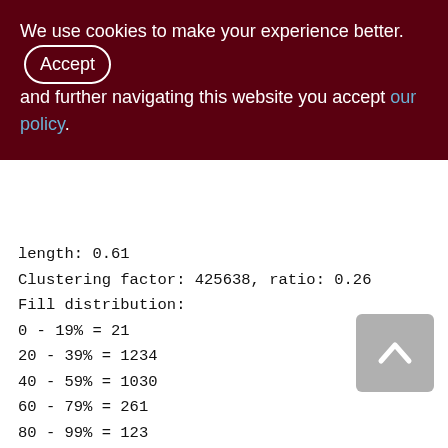We use cookies to make your experience better. By accepting and further navigating this website you accept our policy.
length: 0.61
Clustering factor: 425638, ratio: 0.26
Fill distribution:
0 - 19% = 21
20 - 39% = 1234
40 - 59% = 1030
60 - 79% = 261
80 - 99% = 123
XQD_2100_3300 (263)
Primary pointer page: 734, Index root page: 735
Total formats: 1, used formats: 1